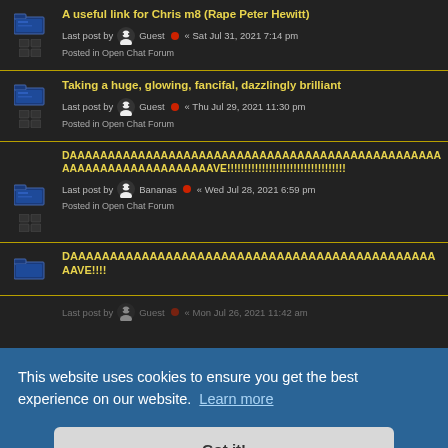A useful link for Chris m8 (Rape Peter Hewitt)
Last post by Guest « Sat Jul 31, 2021 7:14 pm
Posted in Open Chat Forum
Taking a huge, glowing, fancifal, dazzlingly brilliant
Last post by Guest « Thu Jul 29, 2021 11:30 pm
Posted in Open Chat Forum
DAAAAAAAAAAAAAAAAAAAAAAAAAAAAAAAAAAAAAAAAAAAAAAAAAAAAAAAAAAAAAAAAAAAAAVE!!!!!!!!!!!!!!!!!!!!!!!!!!!!!!!!!
Last post by Bananas « Wed Jul 28, 2021 6:59 pm
Posted in Open Chat Forum
DAAAAAAAAAAAAAAAAAAAAAAAAAAAAAAAAAAAAAAAAAAAAAAAAVE!!!!
Last post by Guest « Mon Jul 26, 2021 11:42 am
This website uses cookies to ensure you get the best experience on our website. Learn more
Got it!